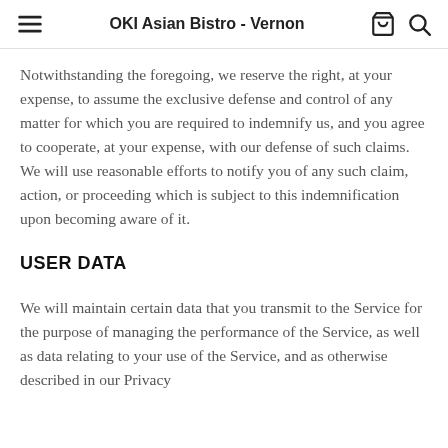OKI Asian Bistro - Vernon
Notwithstanding the foregoing, we reserve the right, at your expense, to assume the exclusive defense and control of any matter for which you are required to indemnify us, and you agree to cooperate, at your expense, with our defense of such claims. We will use reasonable efforts to notify you of any such claim, action, or proceeding which is subject to this indemnification upon becoming aware of it.
USER DATA
We will maintain certain data that you transmit to the Service for the purpose of managing the performance of the Service, as well as data relating to your use of the Service, and as otherwise described in our Privacy